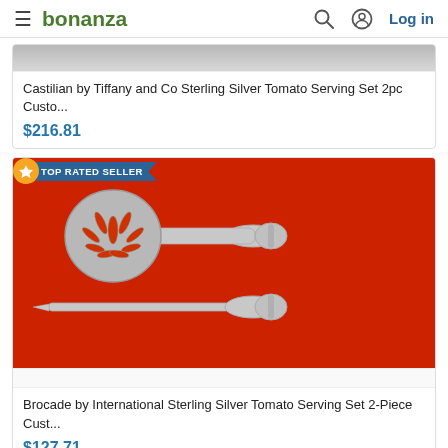bonanza — Log in
[Figure (photo): Partial product image - top portion of a sterling silver tomato serving set on grey background]
Castilian by Tiffany and Co Sterling Silver Tomato Serving Set 2pc Custo...
$216.81
[Figure (photo): TOP RATED SELLER badge. Photo of Brocade by International Sterling Silver Tomato Serving Set: a slotted/pierced silver spatula and a knife with ornate handles, on red background]
Brocade by International Sterling Silver Tomato Serving Set 2-Piece Cust...
$127.71